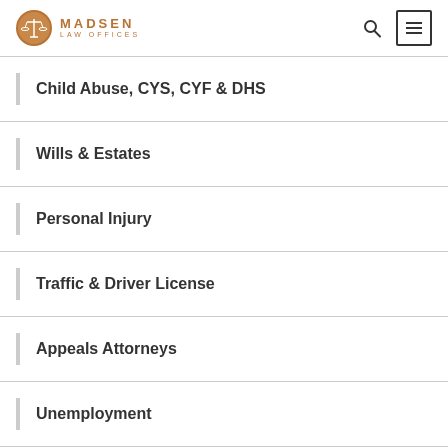MADSEN LAW OFFICES
Child Abuse, CYS, CYF & DHS
Wills & Estates
Personal Injury
Traffic & Driver License
Appeals Attorneys
Unemployment
Second Amendment